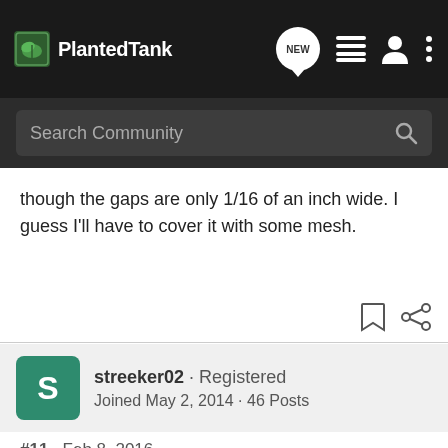PlantedTank
though the gaps are only 1/16 of an inch wide. I guess I'll have to cover it with some mesh.
streeker02 · Registered
Joined May 2, 2014 · 46 Posts
#11 · Feb 8, 2016
put a pile of leaf litter in the tank, you'll never find the khulis
[Figure (screenshot): Advertisement banner: TAKE CONTROL OF YOUR DATA — aqfer, with options Identity Resolution, Personalized Content, Privacy Compliance and LEARN MORE button]